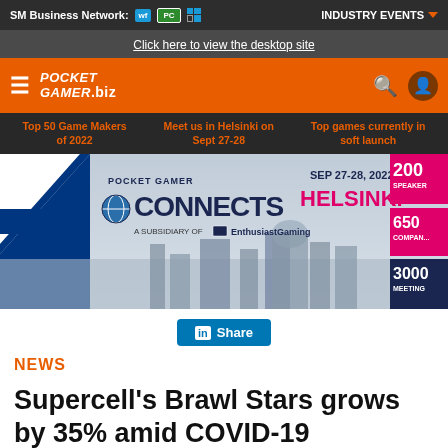SM Business Network: [logos] INDUSTRY EVENTS
Click here to view the desktop site
POCKET GAMER .biz [menu] [search] [user]
Top 50 Game Makers of 2022 | Meet us in Helsinki on Sept 27-28 | Top games currently in soft launch
[Figure (infographic): Pocket Gamer Connects Helsinki ad banner: SEP 27-28, 2022. A subsidiary of EnthusiastGaming. 200 speakers, 650 companies, 3000 meetings.]
Share
NEWS
Supercell's Brawl Stars grows by 35% amid COVID-19